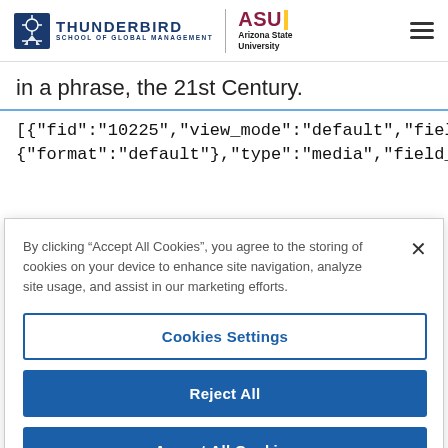Thunderbird School of Global Management | Arizona State University
in a phrase, the 21st Century.
[{"fid":"10225","view_mode":"default","fields":{"format":"default"},"type":"media","field_deltas":
By clicking “Accept All Cookies”, you agree to the storing of cookies on your device to enhance site navigation, analyze site usage, and assist in our marketing efforts.
Cookies Settings
Reject All
Accept All Cookies